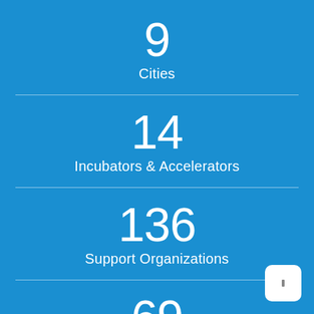9
Cities
14
Incubators & Accelerators
136
Support Organizations
69
Members